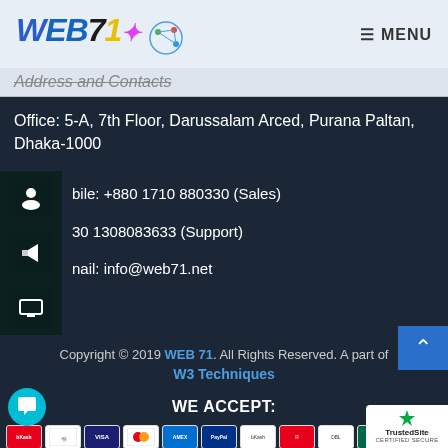WEB71 — MENU
Address and Contacts
Office: 5-A, 7th Floor, Darussalam Arced, Purana Paltan, Dhaka-1000
Mobile: +880 1710 880330 (Sales)
+880 1308083633 (Support)
Email: info@web71.net
Copyright © 2019 WEB 71. All Rights Reserved. A part of W3 Techniques
WE ACCEPT:
[Figure (other): Row of payment method icons including Visa, Mastercard, Amex, and others]
[Figure (logo): TrustedSite Certified Secure badge]